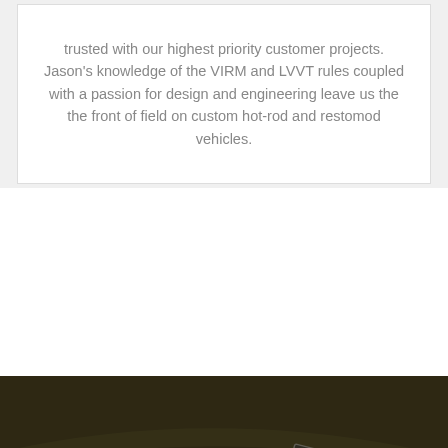trusted with our highest priority customer projects. Jason's knowledge of the VIRM and LVVT rules coupled with a passion for design and engineering leave us the the front of field on custom hot-rod and restomod vehicles.
[Figure (photo): Dark olive/brown background showing a crossed-flags emblem badge — one flag with a fleur-de-lis and Corvette-style logo (dark red/maroon), the other a checkered racing flag (black and white/grey), with flag poles crossing in the center.]